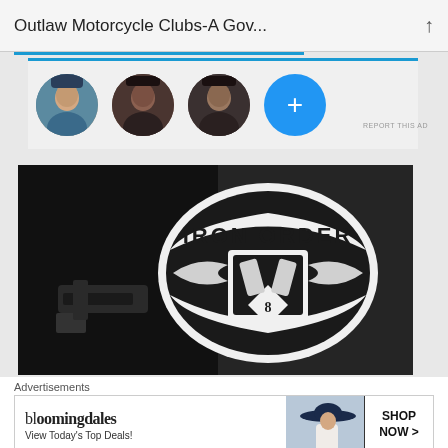Outlaw Motorcycle Clubs-A Gov...
[Figure (photo): Social media profile avatars row showing three person profile photos and a blue plus button]
[Figure (photo): Close-up photo of a black leather motorcycle club vest/jacket with an 'Iron Order' patch featuring a V-twin engine logo, and what appears to be a handgun visible]
Advertisements
[Figure (photo): Bloomingdales advertisement banner with logo, tagline 'View Today's Top Deals!', woman in wide brim hat, and 'SHOP NOW >' button]